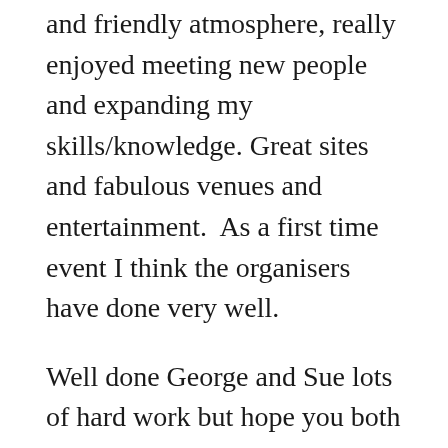and friendly atmosphere, really enjoyed meeting new people and expanding my skills/knowledge. Great sites and fabulous venues and entertainment.  As a first time event I think the organisers have done very well.
Well done George and Sue lots of hard work but hope you both feel very proud, you certainly deserve to. Thank you.
Enjoyed working in a good team,